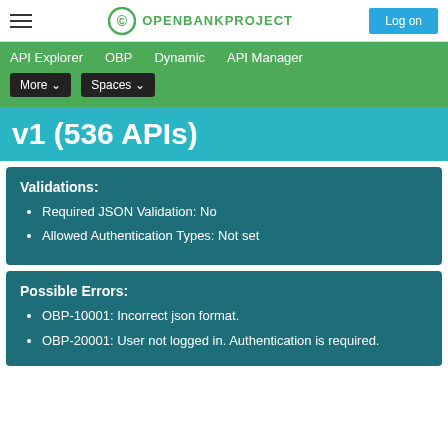OPENBANKPROJECT  Log on
API Explorer   OBP   Dynamic   API Manager   More ▾   Spaces ▾
v1 (536 APIs)
Validations:
Required JSON Validation: No
Allowed Authentication Types: Not set
Possible Errors:
OBP-10001: Incorrect json format.
OBP-20001: User not logged in. Authentication is required.